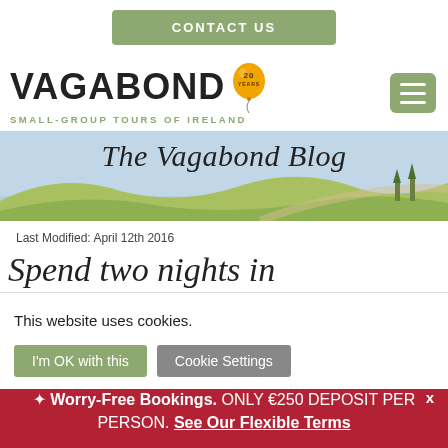CONTACT US
[Figure (logo): Vagabond Small-Group Tours of Ireland logo with 20 Years balloon and hamburger menu icon]
[Figure (illustration): The Vagabond Blog banner with sky blue background and green rolling hills illustration]
Last Modified: April 12th 2016
Spend two nights in Dingle
This website uses cookies. [X] [I'm OK with this] [Cookie Settings]
✦ Worry-Free Bookings. ONLY €250 DEPOSIT PER PERSON. See Our Flexible Terms